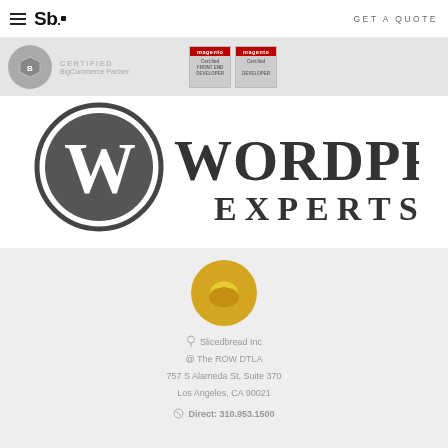Sb. | GET A QUOTE
[Figure (logo): BigCommerce Certified Partner badge and Magento Certified Front End Developer and Developer badges]
[Figure (logo): WordPress Experts logo with WordPress W circle icon]
[Figure (logo): Slicedbread Inc gold circular bread logo icon]
Slicedbread Inc
@ The ROW DTLA
757 S Alameda St, Suite 370
Los Angeles, CA 90021
Direct: 310.953.1500